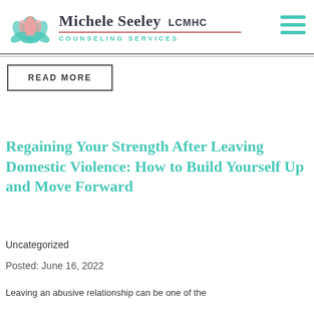Michele Seeley LCMHC COUNSELING SERVICES
READ MORE
Regaining Your Strength After Leaving Domestic Violence: How to Build Yourself Up and Move Forward
Uncategorized
Posted: June 16, 2022
Leaving an abusive relationship can be one of the